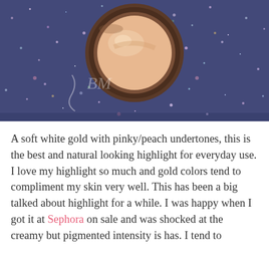[Figure (photo): A peach/gold highlighter compact in a dark brown case, photographed on a blue glittery/sparkly fabric background. The compact is open showing the peachy-gold pressed powder inside.]
A soft white gold with pinky/peach undertones, this is the best and natural looking highlight for everyday use. I love my highlight so much and gold colors tend to compliment my skin very well. This has been a big talked about highlight for a while. I was happy when I got it at Sephora on sale and was shocked at the creamy but pigmented intensity is has. I tend to